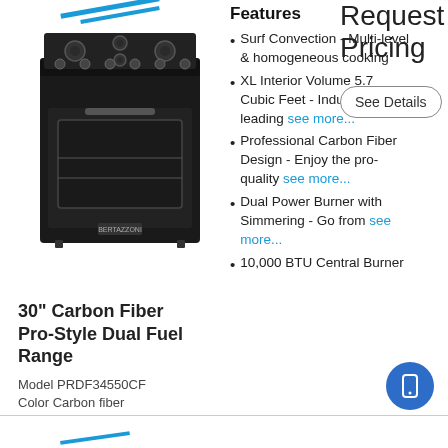[Figure (photo): Black pro-style dual fuel range oven with gas burners on top]
30" Carbon Fiber Pro-Style Dual Fuel Range
Model PRDF34550CF
Color Carbon fiber
Features
Surf Convection - Multi-level & homogeneous cooking
XL Interior Volume 5.7 Cubic Feet - Industry-leading see more...
Professional Carbon Fiber Design - Enjoy the pro-quality see more...
Dual Power Burner with Simmering - Go from see more...
10,000 BTU Central Burner
Request Pricing
See Details